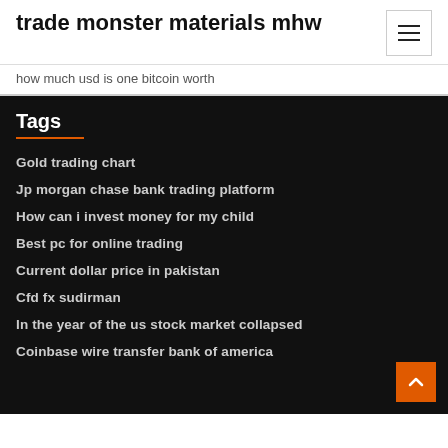trade monster materials mhw
how much usd is one bitcoin worth
Tags
Gold trading chart
Jp morgan chase bank trading platform
How can i invest money for my child
Best pc for online trading
Current dollar price in pakistan
Cfd fx sudirman
In the year of the us stock market collapsed
Coinbase wire transfer bank of america